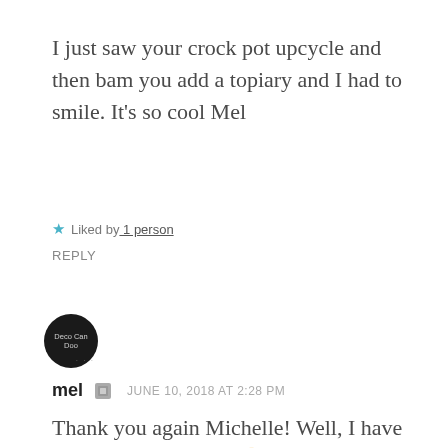I just saw your crock pot upcycle and then bam you add a topiary and I had to smile. It’s so cool Mel
★ Liked by 1 person
REPLY
[Figure (logo): Circular black avatar logo with text 'Deco Can Doo' and small dots below]
mel  JUNE 10, 2018 AT 2:28 PM
Thank you again Michelle! Well, I have to complete the look 🙂